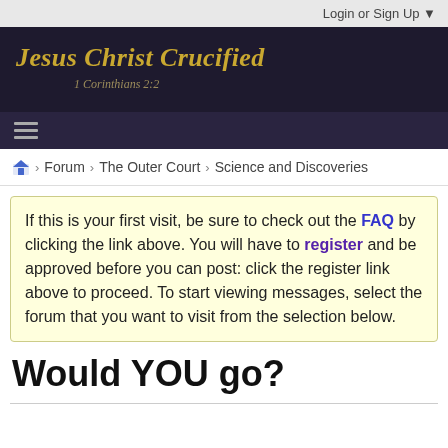Login or Sign Up ▼
Jesus Christ Crucified
1 Corinthians 2:2
≡
Forum > The Outer Court > Science and Discoveries
If this is your first visit, be sure to check out the FAQ by clicking the link above. You will have to register and be approved before you can post: click the register link above to proceed. To start viewing messages, select the forum that you want to visit from the selection below.
Would YOU go?